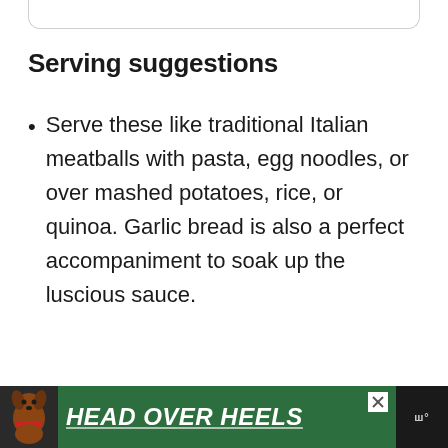Serving suggestions
Serve these like traditional Italian meatballs with pasta, egg noodles, or over mashed potatoes, rice, or quinoa. Garlic bread is also a perfect accompaniment to soak up the luscious sauce.
[Figure (other): Advertisement banner at bottom of page showing a dog, green background with text HEAD OVER HEELS in white italic underlined font, with a close button and a logo on the right]